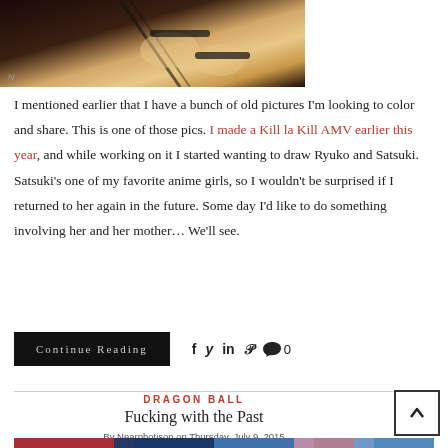[Figure (illustration): Anime illustration showing a close-up of a character's hands/feet with black straps/ribbons on a dark reddish-brown background, with a small watermark in the bottom-left corner]
I mentioned earlier that I have a bunch of old pictures I'm looking to color and share. This is one of those pics. I made a Kill la Kill AMV earlier this year, and while working on it I started wanting to draw Ryuko and Satsuki. Satsuki's one of my favorite anime girls, so I wouldn't be surprised if I returned to her again in the future. Some day I'd like to do something involving her and her mother… We'll see.
Continue Reading
f y in P 🗨 0
DRAGON BALL
Fucking with the Past
By Nearphotison on Thursday, July 9, 2015
[Figure (illustration): Partial view of another anime illustration at the bottom of the page — colorful, showing character heads/faces]